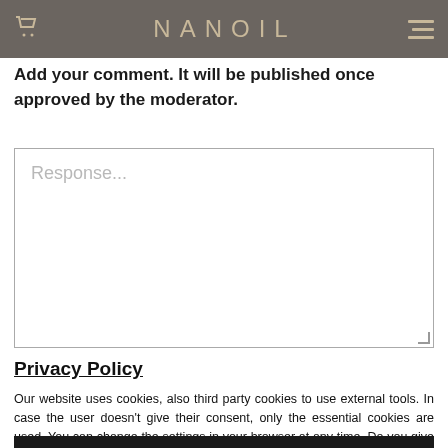NANOIL
Add your comment. It will be published once approved by the moderator.
Response...
Privacy Policy
Our website uses cookies, also third party cookies to use external tools. In case the user doesn't give their consent, only the essential cookies are used. You can change the settings in your browser at any time. Do you give your consent to use all cookies?
Yes, I give my consent
No, I don't give my consent
Personalize